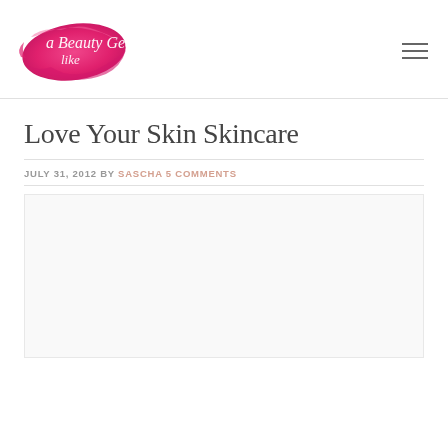[Figure (logo): Beauty Geek Like Me blog logo with pink brush stroke background and cursive white text]
Love Your Skin Skincare
JULY 31, 2012 BY SASCHA 5 COMMENTS
[Figure (photo): Large white/blank image placeholder for the blog post]